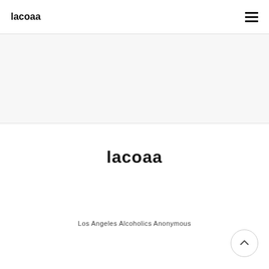lacoaa
lacoaa
Los Angeles Alcoholics Anonymous